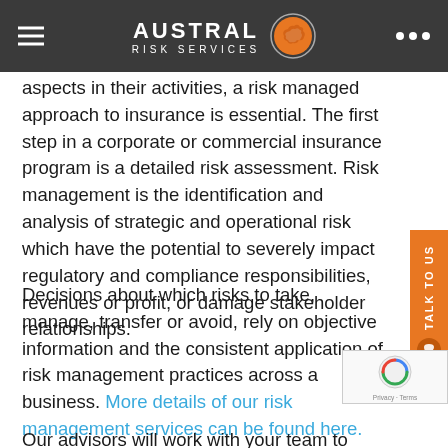AUSTRAL RISK SERVICES
aspects in their activities, a risk managed approach to insurance is essential. The first step in a corporate or commercial insurance program is a detailed risk assessment. Risk management is the identification and analysis of strategic and operational risk which have the potential to severely impact regulatory and compliance responsibilities, revenues or profit, or damage stakeholder relationships.
Decisions about which risks to take, manage, transfer or avoid, rely on objective information and the consistent application of risk management practices across a business. More details of our risk management services can be found here.
Our advisors will work with your team to determine the